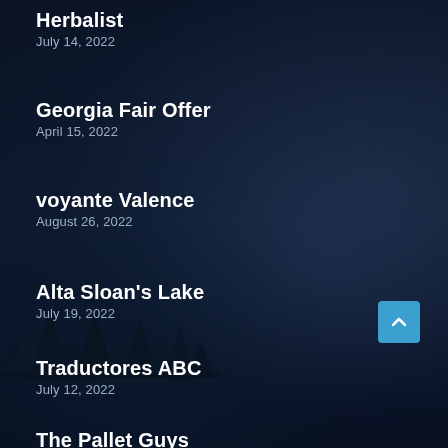Herbalist
July 14, 2022
Georgia Fair Offer
April 15, 2022
voyante Valence
August 26, 2022
Alta Sloan's Lake
July 19, 2022
Traductores ABC
July 12, 2022
The Pallet Guys